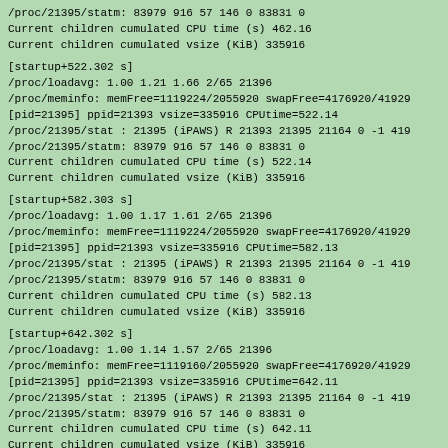/proc/21395/statm: 83979 916 57 146 0 83831 0
Current children cumulated CPU time (s) 462.16
Current children cumulated vsize (KiB) 335916
[startup+522.302 s]
/proc/loadavg: 1.00 1.21 1.66 2/65 21396
/proc/meminfo: memFree=1119224/2055920 swapFree=4176920/41929
[pid=21395] ppid=21393 vsize=335916 CPUtime=522.14
/proc/21395/stat : 21395 (iPAWS) R 21393 21395 21164 0 -1 419
/proc/21395/statm: 83979 916 57 146 0 83831 0
Current children cumulated CPU time (s) 522.14
Current children cumulated vsize (KiB) 335916
[startup+582.303 s]
/proc/loadavg: 1.00 1.17 1.61 2/65 21396
/proc/meminfo: memFree=1119224/2055920 swapFree=4176920/41929
[pid=21395] ppid=21393 vsize=335916 CPUtime=582.13
/proc/21395/stat : 21395 (iPAWS) R 21393 21395 21164 0 -1 419
/proc/21395/statm: 83979 916 57 146 0 83831 0
Current children cumulated CPU time (s) 582.13
Current children cumulated vsize (KiB) 335916
[startup+642.302 s]
/proc/loadavg: 1.00 1.14 1.57 2/65 21396
/proc/meminfo: memFree=1119160/2055920 swapFree=4176920/41929
[pid=21395] ppid=21393 vsize=335916 CPUtime=642.11
/proc/21395/stat : 21395 (iPAWS) R 21393 21395 21164 0 -1 419
/proc/21395/statm: 83979 916 57 146 0 83831 0
Current children cumulated CPU time (s) 642.11
Current children cumulated vsize (KiB) 335916
[startup+702.303 s]
/proc/loadavg: 1.00 1.11 1.53 2/65 21396